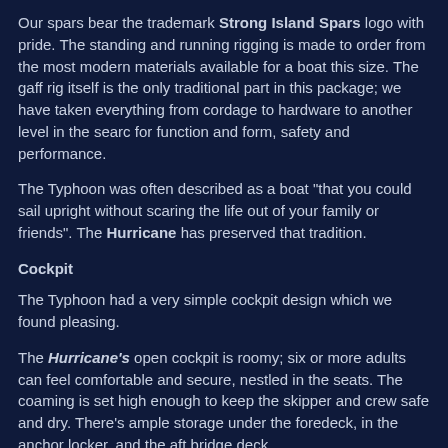Our spars bear the trademark Strong Island Spars logo with pride. The standing and running rigging is made to order from the most modern materials available for a boat this size. The gaff rig itself is the only traditional part in this package; we have taken everything from cordage to hardware to another level in the search for function and form, safety and performance.
The Typhoon was often described as a boat "that you could sail upright without scaring the life out of your family or friends". The Hurricane has preserved that tradition.
Cockpit
The Typhoon had a very simple cockpit design which we found pleasing.
The Hurricane's open cockpit is roomy; six or more adults can feel comfortable and secure, nestled in the seats. The coaming is set high enough to keep the skipper and crew safe and dry. There's ample storage under the foredeck, in the anchor locker, and the aft bridge deck.